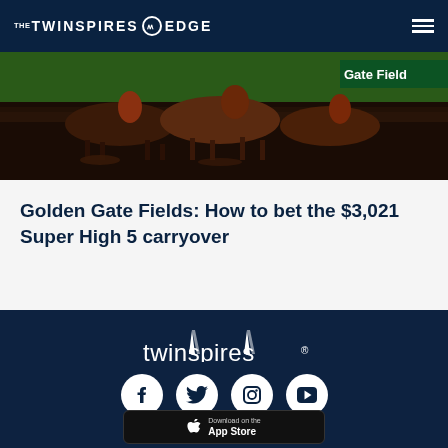THE TWINSPIRES EDGE
[Figure (photo): Horse racing photo showing horses running on a dirt track, with 'Golden Gate Field' text visible in the background]
Golden Gate Fields: How to bet the $3,021 Super High 5 carryover
[Figure (logo): TwinSpires logo with twin spire silhouettes above the wordmark 'twinspires' in white on dark navy background]
[Figure (infographic): Social media icons: Facebook, Twitter, Instagram, YouTube — white circular icons on dark navy background]
[Figure (screenshot): Download on the App Store button]